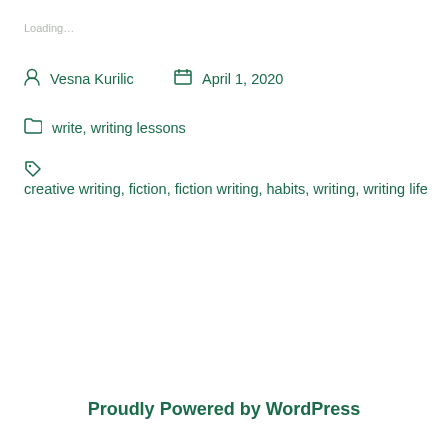Loading…
Vesna Kurilic   April 1, 2020
write, writing lessons
creative writing, fiction, fiction writing, habits, writing, writing life
Proudly Powered by WordPress